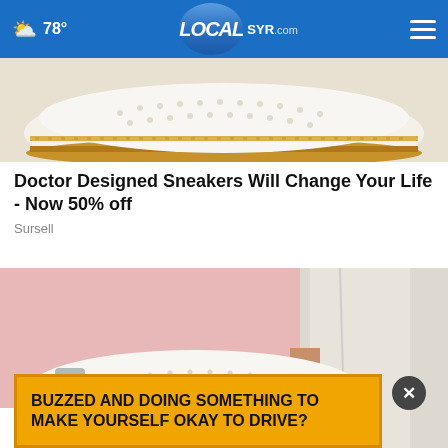78° LOCAL SYR.com
[Figure (photo): Close-up of white perforated sneaker with tan/gold trim and stitching on white background]
Doctor Designed Sneakers Will Change Your Life - Now 50% off
Sursell
[Figure (photo): Person wearing white perforated slip-on sneakers with brown and gold trim, wearing white jeans, pink background]
BUZZED AND DOING SOMETHING TO MAKE YOURSELF OKAY TO DRIVE?